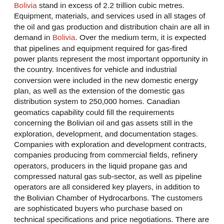Bolivia stand in excess of 2.2 trillion cubic metres. Equipment, materials, and services used in all stages of the oil and gas production and distribution chain are all in demand in Bolivia. Over the medium term, it is expected that pipelines and equipment required for gas-fired power plants represent the most important opportunity in the country. Incentives for vehicle and industrial conversion were included in the new domestic energy plan, as well as the extension of the domestic gas distribution system to 250,000 homes. Canadian geomatics capability could fill the requirements concerning the Bolivian oil and gas assets still in the exploration, development, and documentation stages. Companies with exploration and development contracts, companies producing from commercial fields, refinery operators, producers in the liquid propane gas and compressed natural gas sub-sector, as well as pipeline operators are all considered key players, in addition to the Bolivian Chamber of Hydrocarbons. The customers are sophisticated buyers who purchase based on technical specifications and price negotiations. There are no significant non-tariff barriers, and Bolivia has adopted liberal trade policies. 9 refs., 3 tabs
11. A review of forest economics research in Bolivia